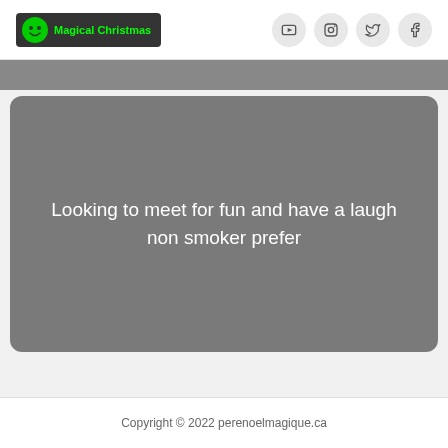Magical Christmas
Looking to meet for fun and have a laugh non smoker prefer
Copyright © 2022 perenoelmagique.ca